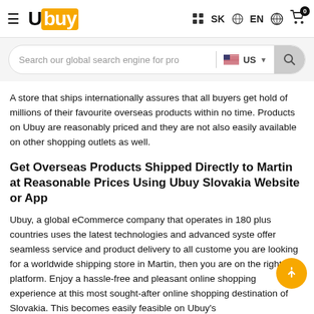[Figure (screenshot): Ubuy website header with hamburger menu, Ubuy logo, SK language selector, EN globe language, user account icon, cart with 0 badge]
[Figure (screenshot): Search bar with placeholder 'Search our global search engine for pro', US flag country selector with dropdown chevron, and search button]
A store that ships internationally assures that all buyers get hold of millions of their favourite overseas products within no time. Products on Ubuy are reasonably priced and they are not also easily available on other shopping outlets as well.
Get Overseas Products Shipped Directly to Martin at Reasonable Prices Using Ubuy Slovakia Website or App
Ubuy, a global eCommerce company that operates in 180 plus countries uses the latest technologies and advanced syste offer seamless service and product delivery to all custome you are looking for a worldwide shipping store in Martin, then you are on the right platform. Enjoy a hassle-free and pleasant online shopping experience at this most sought-after online shopping destination of Slovakia. This becomes easily feasible on Ubuy's